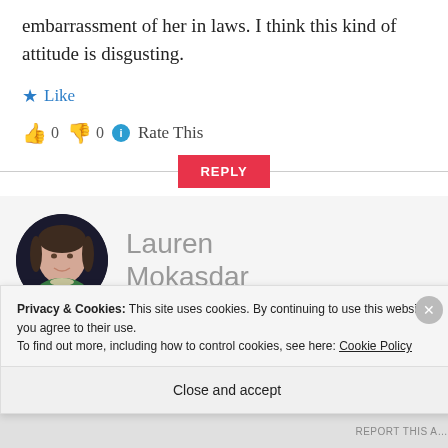embarrassment of her in laws. I think this kind of attitude is disgusting.
★ Like
👍 0 👎 0 ℹ Rate This
REPLY
Lauren Mokasdar
Privacy & Cookies: This site uses cookies. By continuing to use this website, you agree to their use.
To find out more, including how to control cookies, see here: Cookie Policy
Close and accept